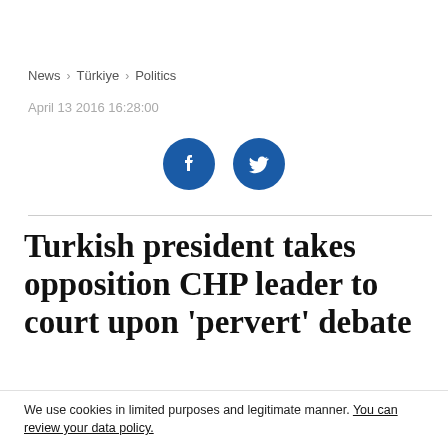News > Türkiye > Politics
April 13 2016 16:28:00
[Figure (illustration): Two circular social media share buttons: Facebook (f icon) and Twitter (bird icon), both dark blue.]
Turkish president takes opposition CHP leader to court upon 'pervert' debate
ANKARA
We use cookies in limited purposes and legitimate manner. You can review your data policy.